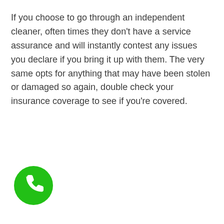If you choose to go through an independent cleaner, often times they don't have a service assurance and will instantly contest any issues you declare if you bring it up with them. The very same opts for anything that may have been stolen or damaged so again, double check your insurance coverage to see if you're covered.
[Figure (illustration): Green circular phone call button icon with a white telephone handset symbol in the center]